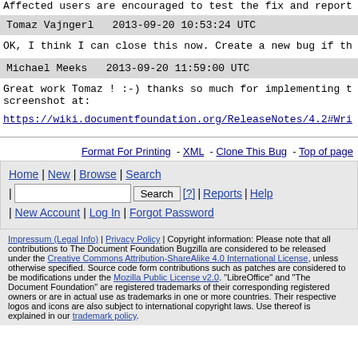Affected users are encouraged to test the fix and report ...
Tomaz Vajngerl   2013-09-20 10:53:24 UTC
OK, I think I can close this now. Create a new bug if th
Michael Meeks   2013-09-20 11:59:00 UTC
Great work Tomaz ! :-) thanks so much for implementing t
screenshot at:
https://wiki.documentfoundation.org/ReleaseNotes/4.2#Wri
Format For Printing - XML - Clone This Bug - Top of page
Home | New | Browse | Search
| [Search box] [Search] [?] | Reports | Help
| New Account | Log In | Forgot Password
Impressum (Legal Info) | Privacy Policy | Copyright information: Please note that all contributions to The Document Foundation Bugzilla are considered to be released under the Creative Commons Attribution-ShareAlike 4.0 International License, unless otherwise specified. Source code form contributions such as patches are considered to be modifications under the Mozilla Public License v2.0. "LibreOffice" and "The Document Foundation" are registered trademarks of their corresponding registered owners or are in actual use as trademarks in one or more countries. Their respective logos and icons are also subject to international copyright laws. Use thereof is explained in our trademark policy.